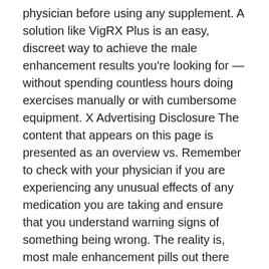physician before using any supplement. A solution like VigRX Plus is an easy, discreet way to achieve the male enhancement results you're looking for — without spending countless hours doing exercises manually or with cumbersome equipment. X Advertising Disclosure The content that appears on this page is presented as an overview vs. Remember to check with your physician if you are experiencing any unusual effects of any medication you are taking and ensure that you understand warning signs of something being wrong. The reality is, most male enhancement pills out there simply don't work. Some of the links in the post above are "associate sales links. The formula may also contain some aphrodisiacal ingredients such as Horny Goat Weed and possibly Ginseng or caffeine for sexual energy and stimulation. The product is meant to work well for desired results through boosting your sexual desired and improve your sexual stimulation. All editorial content is written without prejudice or bias, regardless of sponsor or affiliate